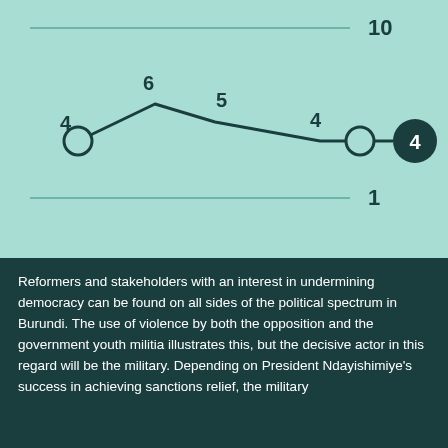[Figure (line-chart): ]
Reformers and stakeholders with an interest in undermining democracy can be found on all sides of the political spectrum in Burundi. The use of violence by both the opposition and the government youth militia illustrates this, but the decisive actor in this regard will be the military. Depending on President Ndayishimiye's success in achieving sanctions relief, the military